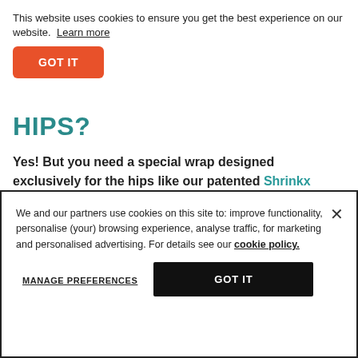This website uses cookies to ensure you get the best experience on our website. Learn more
GOT IT
HIPS?
Yes! But you need a special wrap designed exclusively for the hips like our patented Shrinkx Hips.
We and our partners use cookies on this site to: improve functionality, personalise (your) browsing experience, analyse traffic, for marketing and personalised advertising. For details see our cookie policy.
MANAGE PREFERENCES
GOT IT